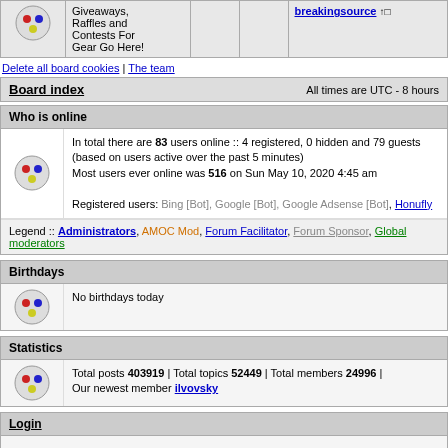| Giveaways, Raffles and Contests For Gear Go Here! |  |  | breakingsource [icon] |
Delete all board cookies | The team
Board index | All times are UTC - 8 hours
Who is online
In total there are 83 users online :: 4 registered, 0 hidden and 79 guests (based on users active over the past 5 minutes) Most users ever online was 516 on Sun May 10, 2020 4:45 am

Registered users: Bing [Bot], Google [Bot], Google Adsense [Bot], Honufly
Legend :: Administrators, AMOC Mod, Forum Facilitator, Forum Sponsor, Global moderators
Birthdays
No birthdays today
Statistics
Total posts 403919 | Total topics 52449 | Total members 24996 | Our newest member ilvovsky
Login